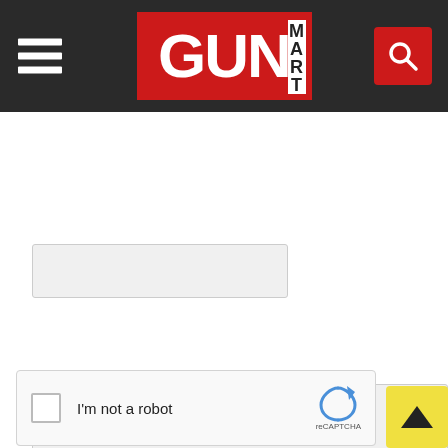[Figure (logo): GunMart website header with hamburger menu on left, GunMart logo in red center, and red search button on right on a dark background]
[Figure (screenshot): Short text input field (grayed out, empty)]
[Figure (screenshot): Large textarea input field (grayed out, empty) with resize handle]
I agree to the Terms & Conditions and Privacy & Cookies Policy.
[Figure (screenshot): reCAPTCHA widget with checkbox, 'I'm not a robot' label and reCAPTCHA logo]
[Figure (screenshot): Yellow scroll-to-top button with upward arrow]